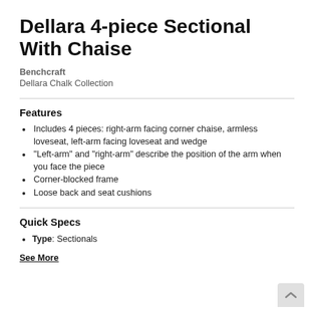Dellara 4-piece Sectional With Chaise
Benchcraft
Dellara Chalk Collection
Features
Includes 4 pieces: right-arm facing corner chaise, armless loveseat, left-arm facing loveseat and wedge
"Left-arm" and "right-arm" describe the position of the arm when you face the piece
Corner-blocked frame
Loose back and seat cushions
Quick Specs
Type: Sectionals
See More